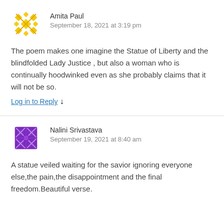[Figure (illustration): Yellow geometric/cross-stitch style avatar icon for Amita Paul]
Amita Paul
September 18, 2021 at 3:19 pm
The poem makes one imagine the Statue of Liberty and the blindfolded Lady Justice , but also a woman who is continually hoodwinked even as she probably claims that it will not be so.
Log in to Reply ↓
[Figure (illustration): Purple geometric/cross-stitch style avatar icon for Nalini Srivastava]
Nalini Srivastava
September 19, 2021 at 8:40 am
A statue veiled waiting for the savior ignoring everyone else,the pain,the disappointment and the final freedom.Beautiful verse.